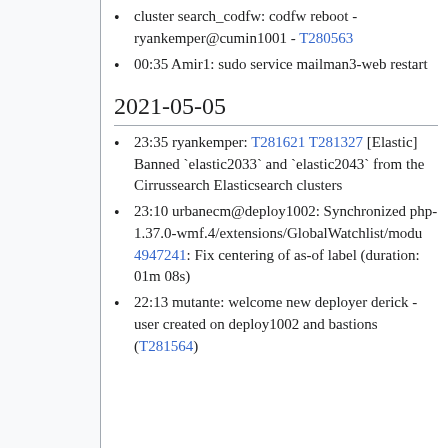cluster search_codfw: codfw reboot - ryankemper@cumin1001 - T280563
00:35 Amir1: sudo service mailman3-web restart
2021-05-05
23:35 ryankemper: T281621 T281327 [Elastic] Banned `elastic2033` and `elastic2043` from the Cirrussearch Elasticsearch clusters
23:10 urbanecm@deploy1002: Synchronized php-1.37.0-wmf.4/extensions/GlobalWatchlist/modu 4947241: Fix centering of as-of label (duration: 01m 08s)
22:13 mutante: welcome new deployer derick - user created on deploy1002 and bastions (T281564)